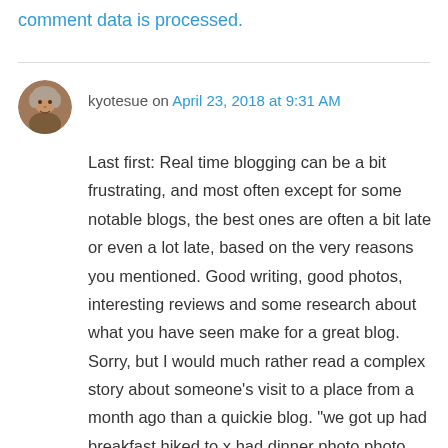comment data is processed.
kyotesue on April 23, 2018 at 9:31 AM
Last first: Real time blogging can be a bit frustrating, and most often except for some notable blogs, the best ones are often a bit late or even a lot late, based on the very reasons you mentioned. Good writing, good photos, interesting reviews and some research about what you have seen make for a great blog. Sorry, but I would much rather read a complex story about someone’s visit to a place from a month ago than a quickie blog. “we got up had breakfast hiked to x had dinner photo photo bye” Not my kind of blog or one that keeps me